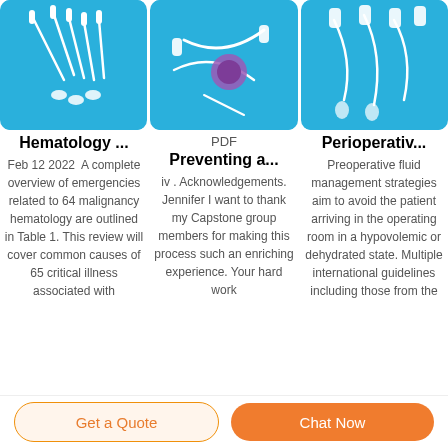[Figure (photo): Medical IV/infusion equipment on blue background — left card image]
[Figure (photo): Medical IV catheter and purple cap equipment on blue background — center card image with PDF label]
[Figure (photo): Medical IV tubing and connectors on blue background — right card image]
Hematology ...
Feb 12 2022  A complete overview of emergencies related to 64 malignancy hematology are outlined in Table 1. This review will cover common causes of 65 critical illness associated with
PDF
Preventing a...
iv . Acknowledgements. Jennifer I want to thank my Capstone group members for making this process such an enriching experience. Your hard work
Perioperativ...
Preoperative fluid management strategies aim to avoid the patient arriving in the operating room in a hypovolemic or dehydrated state. Multiple international guidelines including those from the
Get a Quote
Chat Now